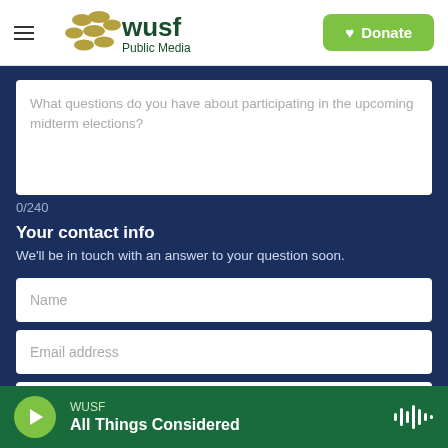WUSF Public Media — Donate
What questions do you have about participating in the upcoming midterm elections?
0/240
Your contact info
We'll be in touch with an answer to your question soon.
Name
Email address
Zip Code
WUSF — All Things Considered